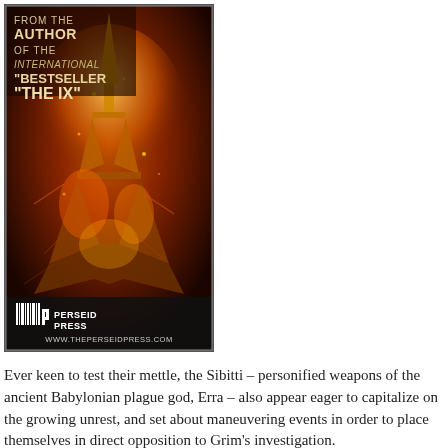[Figure (illustration): Book cover advertisement for Perseid Press. Dark dramatic image of the Eiffel Tower engulfed in fire/destruction with golden-orange tones. Text reads: FROM THE AUTHOR OF THE INTERNATIONAL BESTSELLER 'THE IX'. Perseid Press logo and www.theperseidpress.com at bottom.]
Ever keen to test their mettle, the Sibitti – personified weapons of the ancient Babylonian plague god, Erra – also appear eager to capitalize on the growing unrest, and set about maneuvering events in order to place themselves in direct opposition to Grim's investigation.